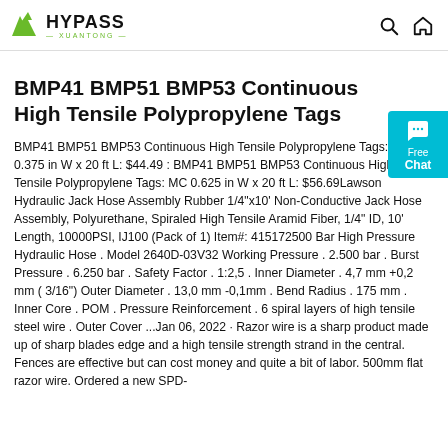HYPASS XUANTONG — logo with search and home icons
BMP41 BMP51 BMP53 Continuous High Tensile Polypropylene Tags
BMP41 BMP51 BMP53 Continuous High Tensile Polypropylene Tags: MC 0.375 in W x 20 ft L: $44.49 : BMP41 BMP51 BMP53 Continuous High Tensile Polypropylene Tags: MC 0.625 in W x 20 ft L: $56.69Lawson Hydraulic Jack Hose Assembly Rubber 1/4"x10' Non-Conductive Jack Hose Assembly, Polyurethane, Spiraled High Tensile Aramid Fiber, 1/4" ID, 10' Length, 10000PSI, IJ100 (Pack of 1) Item#: 415172500 Bar High Pressure Hydraulic Hose . Model 2640D-03V32 Working Pressure . 2.500 bar . Burst Pressure . 6.250 bar . Safety Factor . 1:2,5 . Inner Diameter . 4,7 mm +0,2 mm ( 3/16") Outer Diameter . 13,0 mm -0,1mm . Bend Radius . 175 mm . Inner Core . POM . Pressure Reinforcement . 6 spiral layers of high tensile steel wire . Outer Cover ...Jan 06, 2022 · Razor wire is a sharp product made up of sharp blades edge and a high tensile strength strand in the central. Fences are effective but can cost money and quite a bit of labor. 500mm flat razor wire. Ordered a new SPD-